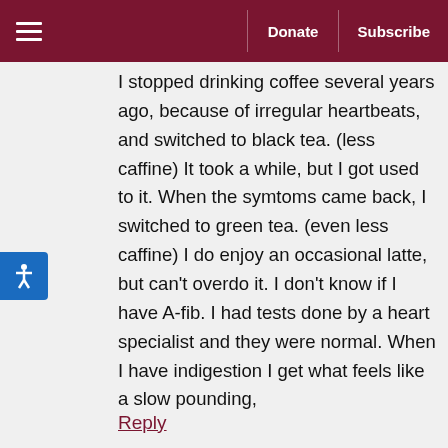Donate | Subscribe
I stopped drinking coffee several years ago, because of irregular heartbeats, and switched to black tea. (less caffine) It took a while, but I got used to it. When the symtoms came back, I switched to green tea. (even less caffine) I do enjoy an occasional latte, but can't overdo it. I don't know if I have A-fib. I had tests done by a heart specialist and they were normal. When I have indigestion I get what feels like a slow pounding,
Reply